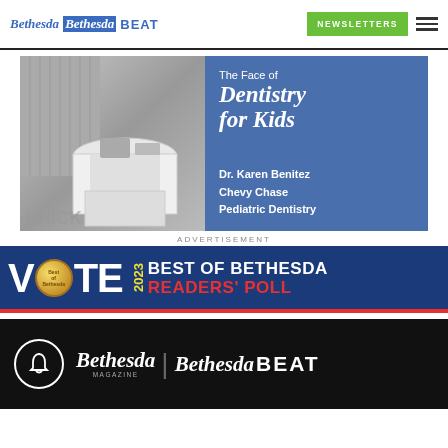Bethesda | Bethesda BEAT — NEWSLETTERS ☰
[Figure (photo): Advertisement: The Face of Dentistry for Kids - Dr. Karen Benitez, Chevy Chase Pediatric Dentistry. Black and white photo on left with dental office scene, blue panel on right with text.]
ADVERTISEMENT
[Figure (infographic): VOTE 2023 BEST OF BETHESDA READERS' POLL banner with blue background, gold medal, and red accent strip at bottom]
Bethesda MAGAZINE | Bethesda BEAT